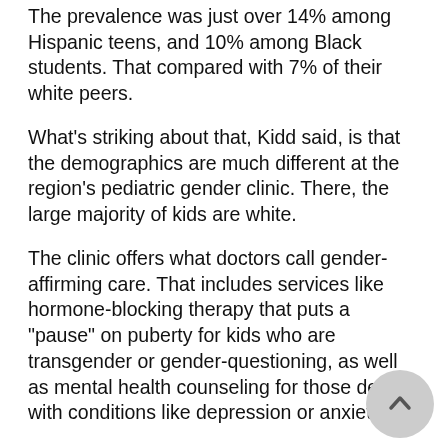The prevalence was just over 14% among Hispanic teens, and 10% among Black students. That compared with 7% of their white peers.
What's striking about that, Kidd said, is that the demographics are much different at the region's pediatric gender clinic. There, the large majority of kids are white.
The clinic offers what doctors call gender-affirming care. That includes services like hormone-blocking therapy that puts a "pause" on puberty for kids who are transgender or gender-questioning, as well as mental health counseling for those dealing with conditions like depression or anxiety.
The new findings, Kidd said, suggest that many minority kids are not getting gender-affirming care -- despite the fact that they are particularly vulnerable.
It's known that Black and Hispanic transgender women are at especially high risk for violence, poverty, depression and suicidal thoughts.
It's easy to see why, according to Dr. Michelle Forcier,